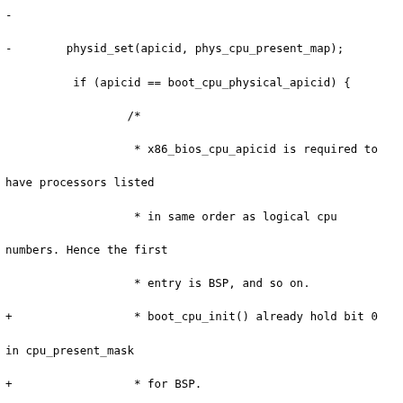Diff/patch code showing changes to CPU APIC initialization logic in a kernel source file, including physid_set, boot_cpu_physical_apicid check, cpu assignment logic, version validation, and apic_version array assignment.